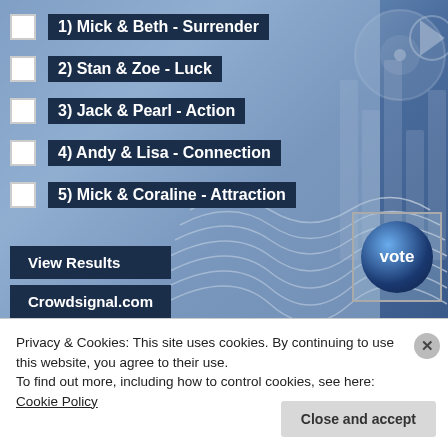1) Mick & Beth - Surrender
2) Stan & Zoe - Luck
3) Jack & Pearl - Action
4) Andy & Lisa - Connection
5) Mick & Coraline - Attraction
View Results
Crowdsignal.com
vote
Privacy & Cookies: This site uses cookies. By continuing to use this website, you agree to their use.
To find out more, including how to control cookies, see here: Cookie Policy
Close and accept